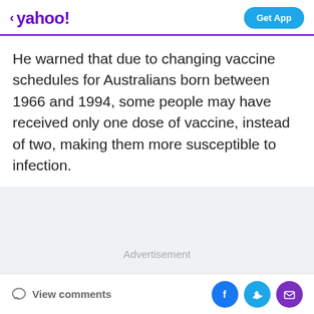yahoo! Get App
He warned that due to changing vaccine schedules for Australians born between 1966 and 1994, some people may have received only one dose of vaccine, instead of two, making them more susceptible to infection.
[Figure (other): Advertisement placeholder area with light gray background]
View comments | Facebook share | Twitter share | Email share